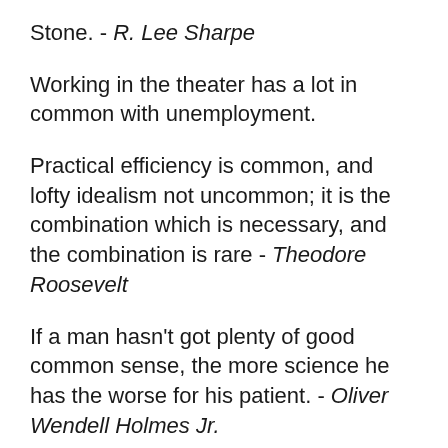Stone. - R. Lee Sharpe
Working in the theater has a lot in common with unemployment.
Practical efficiency is common, and lofty idealism not uncommon; it is the combination which is necessary, and the combination is rare - Theodore Roosevelt
If a man hasn't got plenty of good common sense, the more science he has the worse for his patient. - Oliver Wendell Holmes Jr.
Whatever else may divide us, Europe is our common home; a common fate has linked us through the centuries, and it continues